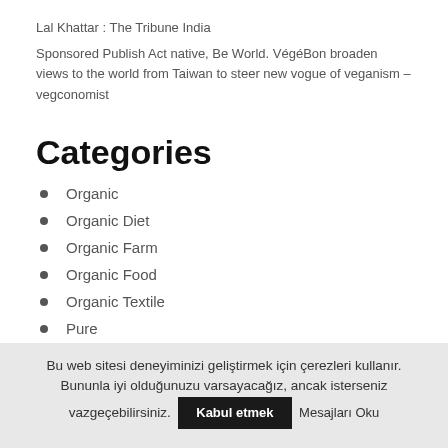Lal Khattar : The Tribune India
Sponsored Publish Act native, Be World. VégéBon broaden views to the world from Taiwan to steer new vogue of veganism – vegconomist
Categories
Organic
Organic Diet
Organic Farm
Organic Food
Organic Textile
Pure
Bu web sitesi deneyiminizi geliştirmek için çerezleri kullanır. Bununla iyi olduğunuzu varsayacağız, ancak isterseniz vazgeçebilirsiniz. Kabul etmek  Mesajları Oku